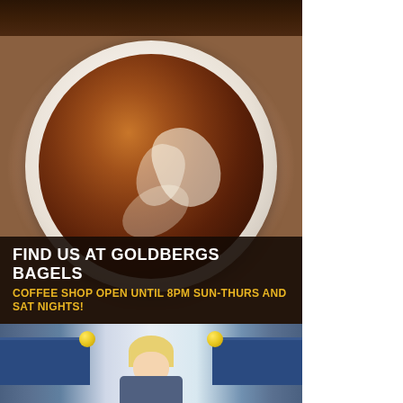[Figure (photo): Overhead view of hands holding a white ceramic cup of coffee with cream swirls on a dark wooden table background]
FIND US AT GOLDBERGS BAGELS
COFFEE SHOP OPEN UNTIL 8PM SUN-THURS AND SAT NIGHTS!
[Figure (photo): Interior of Goldbergs Bagels shop with blue shelving, yellow decorative balls, and a blonde person behind the counter]